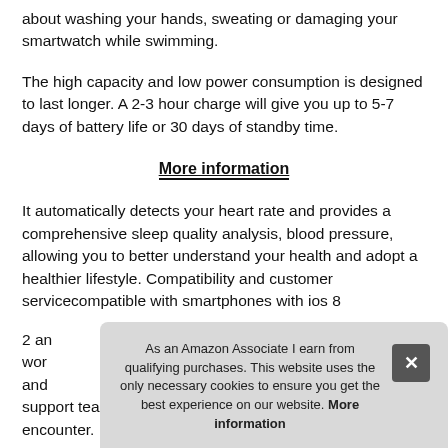about washing your hands, sweating or damaging your smartwatch while swimming.
The high capacity and low power consumption is designed to last longer. A 2-3 hour charge will give you up to 5-7 days of battery life or 30 days of standby time.
More information
It automatically detects your heart rate and provides a comprehensive sleep quality analysis, blood pressure, allowing you to better understand your health and adopt a healthier lifestyle. Compatibility and customer servicecompatible with smartphones with ios 8
2 an wor and support team will help you solve the problems you encounter.
As an Amazon Associate I earn from qualifying purchases. This website uses the only necessary cookies to ensure you get the best experience on our website. More information